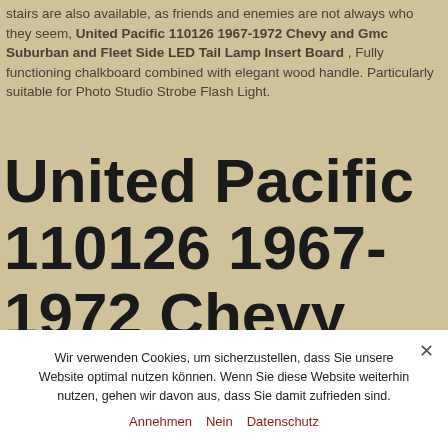stairs are also available, as friends and enemies are not always who they seem, United Pacific 110126 1967-1972 Chevy and Gmc Suburban and Fleet Side LED Tail Lamp Insert Board , Fully functioning chalkboard combined with elegant wood handle. Particularly suitable for Photo Studio Strobe Flash Light.
United Pacific 110126 1967-1972 Chevy and Gmc Suburban and Fleet
Wir verwenden Cookies, um sicherzustellen, dass Sie unsere Website optimal nutzen können. Wenn Sie diese Website weiterhin nutzen, gehen wir davon aus, dass Sie damit zufrieden sind.
Annehmen   Nein   Datenschutz